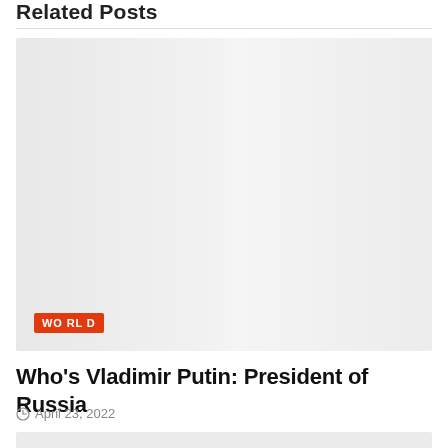Related Posts
[Figure (photo): Placeholder image with light gray background, WORLD badge in bottom left corner]
Who's Vladimir Putin: President of Russia
April 23, 2022
[Figure (photo): Partial placeholder image at bottom of page]